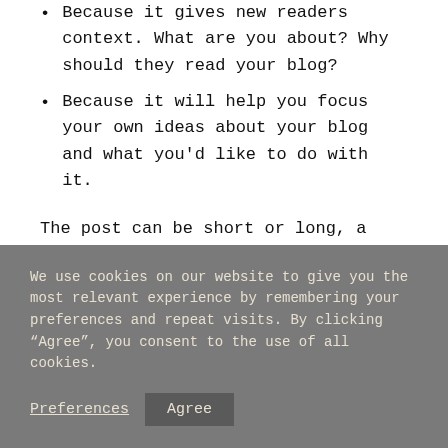Because it gives new readers context. What are you about? Why should they read your blog?
Because it will help you focus your own ideas about your blog and what you'd like to do with it.
The post can be short or long, a personal intro to your life or a bloggy mission statement, a manifesto for the
We use cookies on our website to give you the most relevant experience by remembering your preferences and repeat visits. By clicking “Agree”, you consent to the use of all cookies.
Preferences   Agree